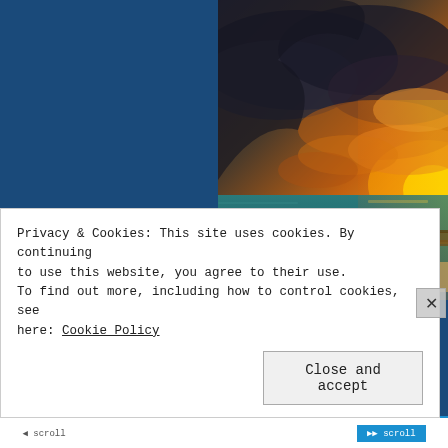[Figure (photo): Coastal sunset photograph showing a pier extending into teal ocean water, dramatic storm clouds lit orange and yellow by sunset, with green tropical foliage in the foreground. Right half of upper page.]
Privacy & Cookies: This site uses cookies. By continuing to use this website, you agree to their use.
To find out more, including how to control cookies, see here: Cookie Policy
Close and accept